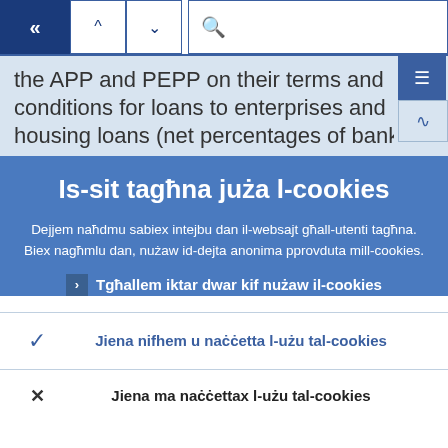Navigation toolbar with back button, up/down arrows, and search bar
the APP and PEPP on their terms and conditions for loans to enterprises and housing loans (net percentages of banks
Is-sit tagħna juża l-cookies
Dejjem naħdmu sabiex intejbu dan il-websajt għall-utenti tagħna. Biex nagħmlu dan, nużaw id-dejta anonima pprovduta mill-cookies.
Tgħallem iktar dwar kif nużaw il-cookies
✓ Jiena nifhem u naċċetta l-użu tal-cookies
✗ Jiena ma naċċettax l-użu tal-cookies